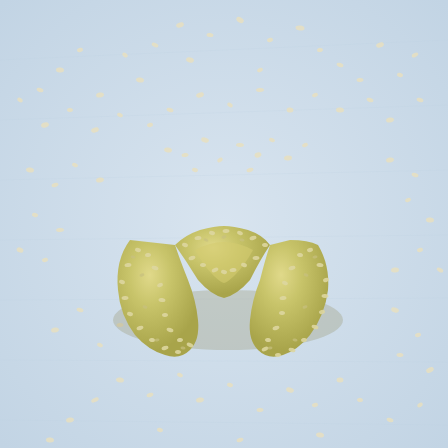[Figure (photo): A U-shaped or crescent-shaped piece of dough coated with sesame seeds, resting on a light blue fabric surface scattered with many sesame seeds.]